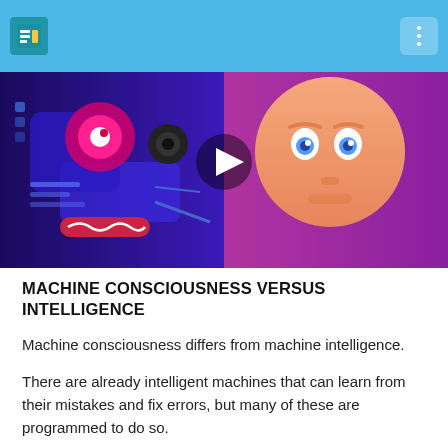[Figure (screenshot): Video thumbnail showing a split illustration: left side is a robotic machine face with glowing red/pink eyes and circuit elements on a blue/purple background; right side is a human face with blue eyes on an orange/peach background. A play button triangle is visible in the center.]
MACHINE CONSCIOUSNESS VERSUS INTELLIGENCE
Machine consciousness differs from machine intelligence.
There are already intelligent machines that can learn from their mistakes and fix errors, but many of these are programmed to do so.
For example, world chess Grandmaster, Gary Kasparov, was defeated by IBM's 'Deep Blue' supercomputer in 1997.
Apple Siri, Google Photo Search and Google's self-driving cars are further examples of machines that exhibit behaviour similar to that